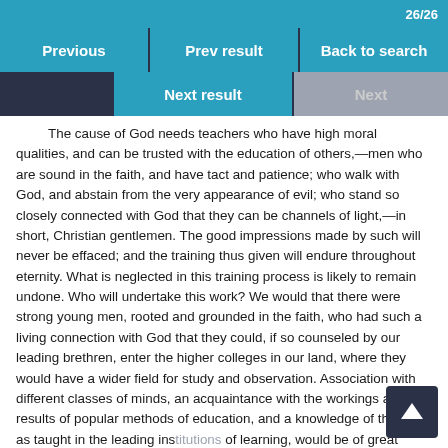26/26
Previous | Prev result | Back to search
Next result | Next
The cause of God needs teachers who have high moral qualities, and can be trusted with the education of others,—men who are sound in the faith, and have tact and patience; who walk with God, and abstain from the very appearance of evil; who stand so closely connected with God that they can be channels of light,—in short, Christian gentlemen. The good impressions made by such will never be effaced; and the training thus given will endure throughout eternity. What is neglected in this training process is likely to remain undone. Who will undertake this work? We would that there were strong young men, rooted and grounded in the faith, who had such a living connection with God that they could, if so counseled by our leading brethren, enter the higher colleges in our land, where they would have a wider field for study and observation. Association with different classes of minds, an acquaintance with the workings and results of popular methods of education, and a knowledge of theology as taught in the leading institutions of learning, would be of great value to such workers, preparing them to labor for the educated classes, and to meet the prevailing errors of our time. Such